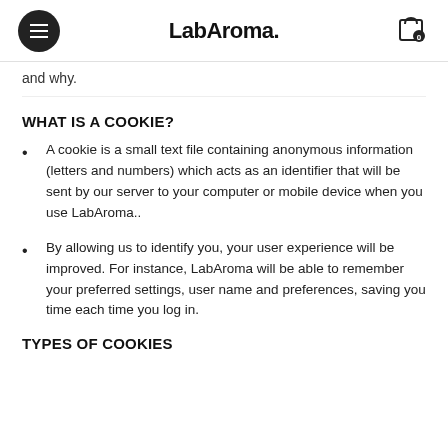LabAroma.
and why.
WHAT IS A COOKIE?
A cookie is a small text file containing anonymous information (letters and numbers) which acts as an identifier that will be sent by our server to your computer or mobile device when you use LabAroma..
By allowing us to identify you, your user experience will be improved. For instance, LabAroma will be able to remember your preferred settings, user name and preferences, saving you time each time you log in.
TYPES OF COOKIES